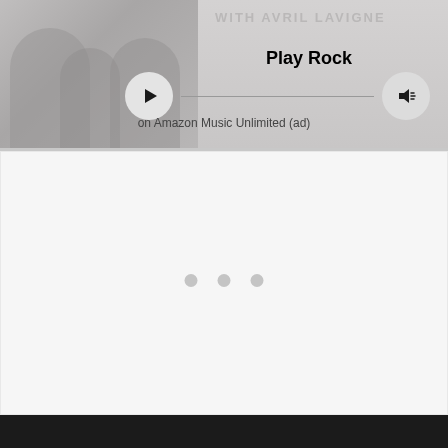[Figure (screenshot): Amazon Music Unlimited advertisement banner with Avril Lavigne branding. Shows 'WITH AVRIL LAVIGNE' text, a media player bar with play button, progress line, volume button, 'Play Rock' label in bold, and 'on Amazon Music Unlimited (ad)' subtitle.]
[Figure (screenshot): Content loading area with three grey dots indicating a loading spinner, on a light grey/white background.]
[Figure (screenshot): Dark footer bar at the bottom of the page.]